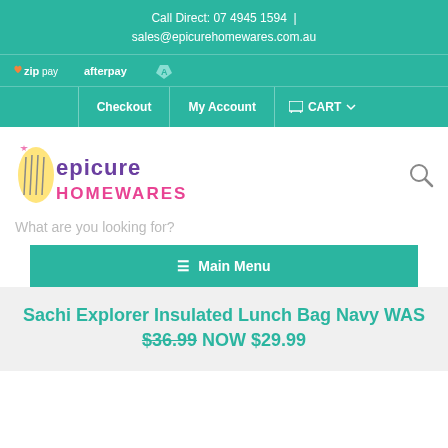Call Direct: 07 4945 1594 | sales@epicurehomewares.com.au
[Figure (logo): Zip Pay and Afterpay logos on teal background]
Checkout | My Account | CART
[Figure (logo): Epicure Homewares logo with colourful text and chef illustration]
What are you looking for?
≡ Main Menu
Sachi Explorer Insulated Lunch Bag Navy WAS $36.99 NOW $29.99